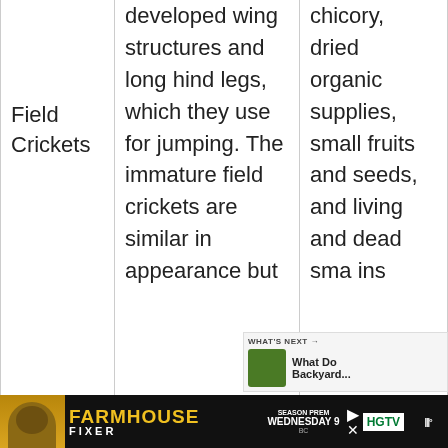|  |  |  |
| --- | --- | --- |
| Field Crickets | developed wing structures and long hind legs, which they use for jumping. The immature field crickets are similar in appearance but... | chicory, dried organic supplies, small fruits and seeds, and living and dead small insects... |
[Figure (screenshot): Bottom advertisement bar for HGTV Farmhouse Fixer season premiere, Wednesday 9 BC, with dark background and TV-related UI overlays including heart/share buttons and What's Next panel]